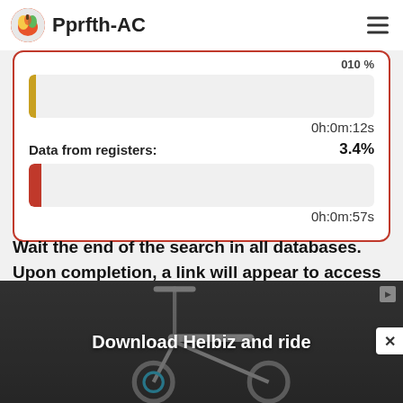Pprfth-AC
[Figure (screenshot): Progress bars showing database search progress. First bar (nearly empty, yellow fill) shows 0h:0m:12s. Second bar labeled 'Data from registers: 3.4%' (small orange fill) shows 0h:0m:57s. Enclosed in a red-bordered white card.]
Wait the end of the search in all databases.
Upon completion, a link will appear to access the found materials.
[Figure (photo): Advertisement banner showing a scooter/electric bike with text 'Download Helbiz and ride']